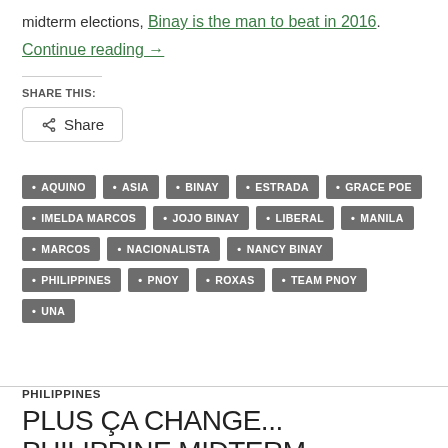midterm elections, Binay is the man to beat in 2016.
Continue reading →
SHARE THIS:
Share
AQUINO
ASIA
BINAY
ESTRADA
GRACE POE
IMELDA MARCOS
JOJO BINAY
LIBERAL
MANILA
MARCOS
NACIONALISTA
NANCY BINAY
PHILIPPINES
PNOY
ROXAS
TEAM PNOY
UNA
PHILIPPINES
PLUS ÇA CHANGE... PHILIPPINE MIDTERM